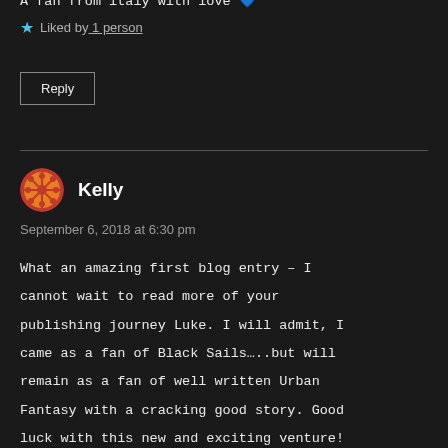A fan from italy with love 💙
★ Liked by 1 person
Reply
Kelly
September 6, 2018 at 6:30 pm
What an amazing first blog entry – I cannot wait to read more of your publishing journey Luke. I will admit, I came as a fan of Black Sails…..but will remain as a fan of well written Urban Fantasy with a cracking good story. Good luck with this new and exciting venture!